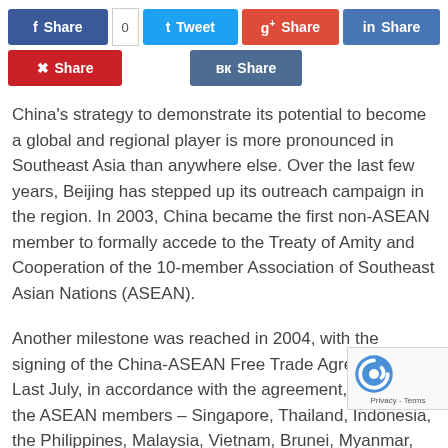[Figure (other): Social media share buttons row 1: Facebook Share (with count 0), Tweet, g+ Share, in Share]
[Figure (other): Social media share buttons row 2: Pinterest Share, VK Share]
China's strategy to demonstrate its potential to become a global and regional player is more pronounced in Southeast Asia than anywhere else. Over the last few years, Beijing has stepped up its outreach campaign in the region. In 2003, China became the first non-ASEAN member to formally accede to the Treaty of Amity and Cooperation of the 10-member Association of Southeast Asian Nations (ASEAN).
Another milestone was reached in 2004, with the signing of the China-ASEAN Free Trade Agreement. Last July, in accordance with the agreement, China and the ASEAN members – Singapore, Thailand, Indonesia, the Philippines, Malaysia, Vietnam, Brunei, Myanmar, La and Cambodia – began to reduce or remove tariffs o 7,000 products. They want to create the world's larg free trade zone by the end of the decade.